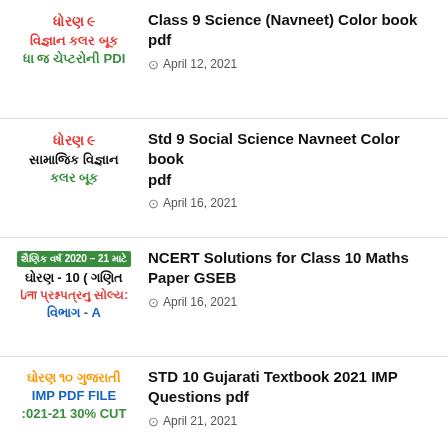Class 9 Science (Navneet) Color book pdf — April 12, 2021
Std 9 Social Science Navneet Color book pdf — April 16, 2021
NCERT Solutions for Class 10 Maths Paper GSEB — April 16, 2021
STD 10 Gujarati Textbook 2021 IMP Questions pdf — April 21, 2021